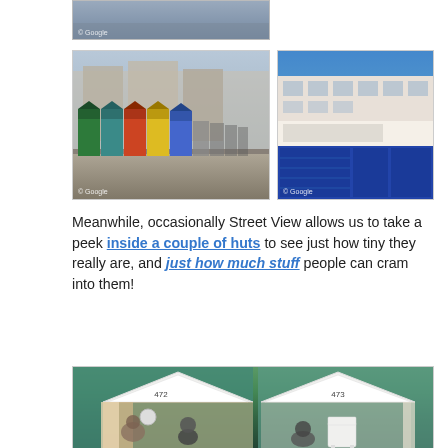[Figure (photo): Partial top image showing a street view scene, cropped at the top with Google watermark]
[Figure (photo): Street view photo of colorful beach huts along a promenade with buildings in the background. Google watermark bottom left.]
[Figure (photo): Street view photo of a building with blue shuttered shop fronts. Google watermark bottom left.]
Meanwhile, occasionally Street View allows us to take a peek inside a couple of huts to see just how tiny they really are, and just how much stuff people can cram into them!
[Figure (photo): Street view photo looking inside two open beach huts numbered 472 and 473, showing people and furniture inside. Green huts visible in background.]